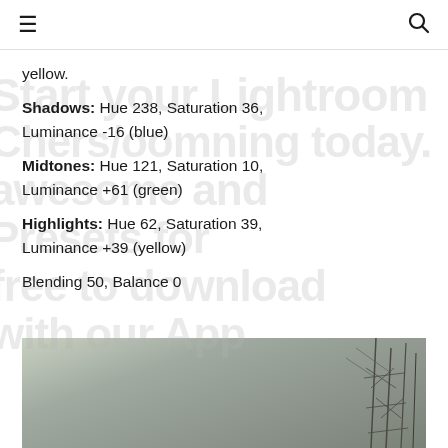☰ [search icon]
yellow.

Shadows: Hue 238, Saturation 36, Luminance -16 (blue)
Midtones: Hue 121, Saturation 10, Luminance +61 (green)
Highlights: Hue 62, Saturation 39, Luminance +39 (yellow)
Blending 50, Balance 0
[Figure (photo): Overcast sky with industrial tower/antenna structures visible on the right side, muted green-grey tones suggesting Lightroom color grading applied]